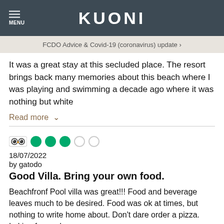KUONI
FCDO Advice & Covid-19 (coronavirus) update
It was a great stay at this secluded place. The resort brings back many memories about this beach where I was playing and swimming a decade ago where it was nothing but white
Read more ∨
18/07/2022
by gatodo
Good Villa. Bring your own food.
Beachfronf Pool villa was great!!! Food and beverage leaves much to be desired. Food was ok at times, but nothing to write home about. Don't dare order a pizza. Loking forward
Read more